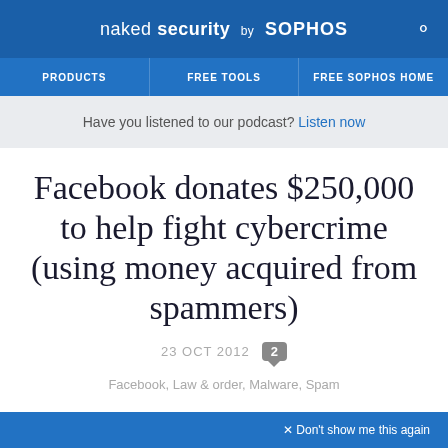naked security by SOPHOS
PRODUCTS | FREE TOOLS | FREE SOPHOS HOME
Have you listened to our podcast? Listen now
Facebook donates $250,000 to help fight cybercrime (using money acquired from spammers)
23 OCT 2012  2
Facebook, Law & order, Malware, Spam
× Don't show me this again